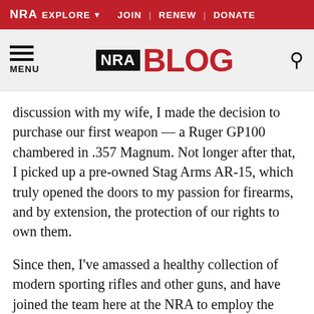NRA EXPLORE  JOIN | RENEW | DONATE
[Figure (logo): NRA Blog logo with hamburger menu and search icon]
discussion with my wife, I made the decision to purchase our first weapon — a Ruger GP100 chambered in .357 Magnum. Not longer after that, I picked up a pre-owned Stag Arms AR-15, which truly opened the doors to my passion for firearms, and by extension, the protection of our rights to own them.
Since then, I've amassed a healthy collection of modern sporting rifles and other guns, and have joined the team here at the NRA to employ the skills and I learned in the military in positively affecting the organization's mission. It's been a long journey from the streets of a